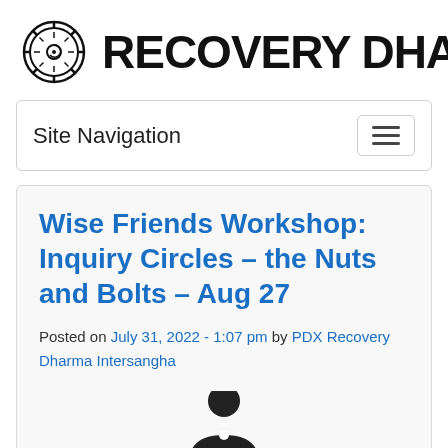RECOVERY DHAR
Site Navigation
Wise Friends Workshop: Inquiry Circles – the Nuts and Bolts – Aug 27
Posted on July 31, 2022 - 1:07 pm by PDX Recovery Dharma Intersangha
[Figure (illustration): Partial silhouette of a person avatar/icon in black at the bottom of the post card]